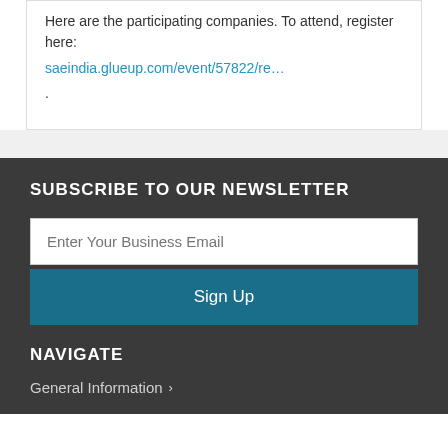Here are the participating companies. To attend, register here:
saeindia.glueup.com/event/57822/re…
.
SUBSCRIBE TO OUR NEWSLETTER
Enter Your Business Email
Sign Up
NAVIGATE
General Information ›